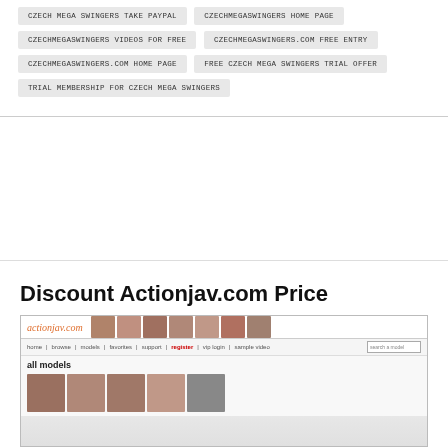CZECH MEGA SWINGERS TAKE PAYPAL
CZECHMEGASWINGERS HOME PAGE
CZECHMEGASWINGERS VIDEOS FOR FREE
CZECHMEGASWINGERS.COM FREE ENTRY
CZECHMEGASWINGERS.COM HOME PAGE
FREE CZECH MEGA SWINGERS TRIAL OFFER
TRIAL MEMBERSHIP FOR CZECH MEGA SWINGERS
Discount Actionjav.com Price
[Figure (screenshot): Screenshot of actionjav.com website showing the site logo, navigation bar with register link, search box, and a grid of model thumbnails]